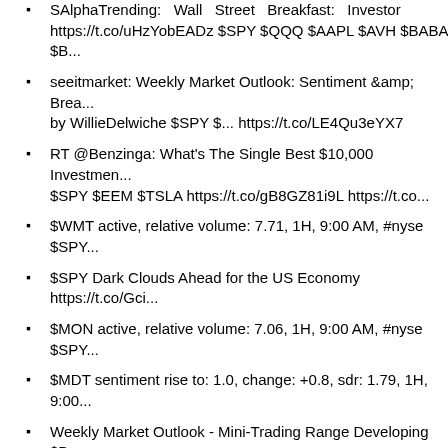SAlphaTrending: Wall Street Breakfast: Investor https://t.co/uHzYobEADz $SPY $QQQ $AAPL $AVH $BABA $B...
seeitmarket: Weekly Market Outlook: Sentiment &amp; Bread by WillieDelwiche $SPY $... https://t.co/LE4Qu3eYX7
RT @Benzinga: What's The Single Best $10,000 Investmen $SPY $EEM $TSLA https://t.co/gB8GZ81i9L https://t.co...
$WMT active, relative volume: 7.71, 1H, 9:00 AM, #nyse $SPY...
$SPY Dark Clouds Ahead for the US Economy https://t.co/Gci...
$MON active, relative volume: 7.06, 1H, 9:00 AM, #nyse $SPY...
$MDT sentiment rise to: 1.0, change: +0.8, sdr: 1.79, 1H, 9:00...
Weekly Market Outlook - Mini-Trading Range Developing $D... $COMP $VXN https://t.co/mE1b8YclO6
SAlphaTrending: Wall Street Breakfast: Investor Eyes Shift Ba... $SPY $QQQ $AAPL $AVH $BABA $BAC $BLK $C ...
RT @z8angela: Futures are up following Friday's decent close... is about to retest its yr high. https://t.c...